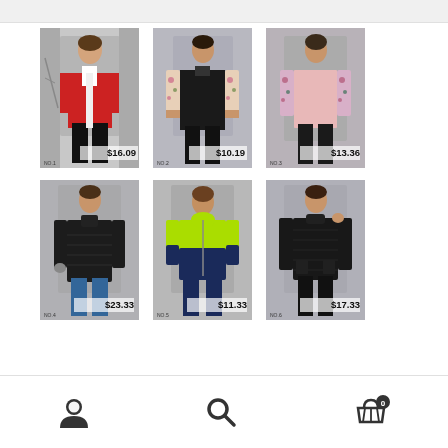[Figure (screenshot): E-commerce product listing page showing 6 women's jackets/outerwear in a 3x2 grid. Row 1: red varsity jacket ($16.09), black floral bomber jacket ($10.19), pink floral sleeve jacket ($13.36). Row 2: black quilted jacket ($23.33), neon yellow/navy hoodie ($11.33), black quilted jacket ($17.33). Bottom navigation bar with user, search, and cart (badge 0) icons.]